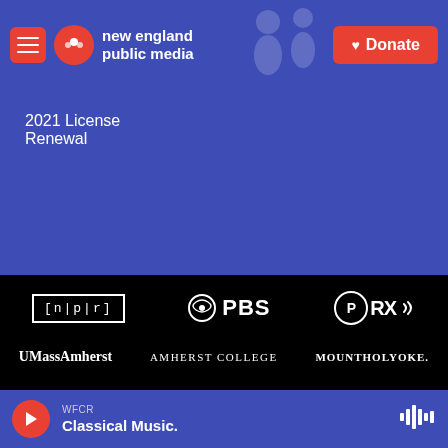new england public media | Donate
2021 License Renewal
[Figure (logo): Logos of partner organizations on black background: NPR, PBS, PRX, UMass Amherst, Amherst College, Mount Holyoke, Smith College, Hampshire College, Five College Consortium, Springfield Central]
WFCR Classical Music.